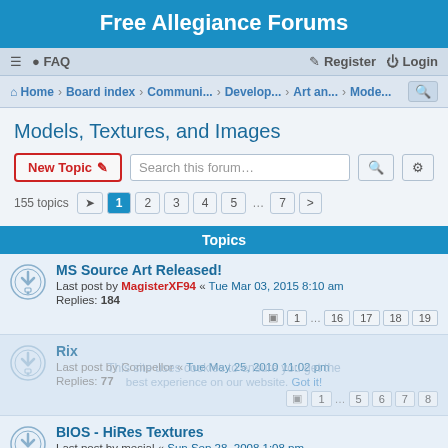Free Allegiance Forums
≡  FAQ  Register  Login
Home · Board index · Communi... · Develop... · Art an... · Mode...
Models, Textures, and Images
New Topic | Search this forum...
155 topics  1 2 3 4 5 ... 7 →
Topics
MS Source Art Released!
Last post by MagisterXF94 « Tue Mar 03, 2015 8:10 am
Replies: 184
1 ... 16 17 18 19
Rix
Last post by Compellor « Tue May 25, 2010 11:02 pm
Replies: 77
1 ... 5 6 7 8
BIOS - HiRes Textures
Last post by mesial « Sun Sep 28, 2008 1:08 pm
Replies: 26
1 2 3
General description
Last post by Zapper « Wed Feb 13, 2008 11:39 pm